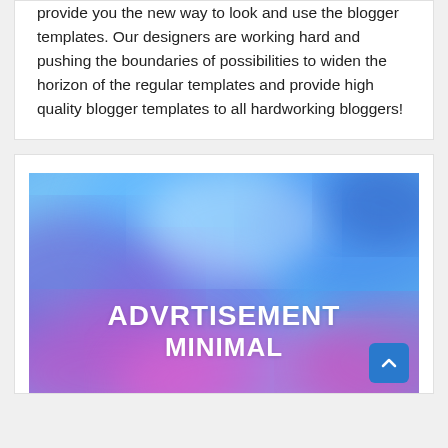provide you the new way to look and use the blogger templates. Our designers are working hard and pushing the boundaries of possibilities to widen the horizon of the regular templates and provide high quality blogger templates to all hardworking bloggers!
[Figure (illustration): Advertisement banner with watercolor background in blue, purple, and pink colors. Bold white text reads 'ADVRTISEMENT MINIMAL'. A blue scroll-to-top button with a caret icon is in the bottom right corner.]